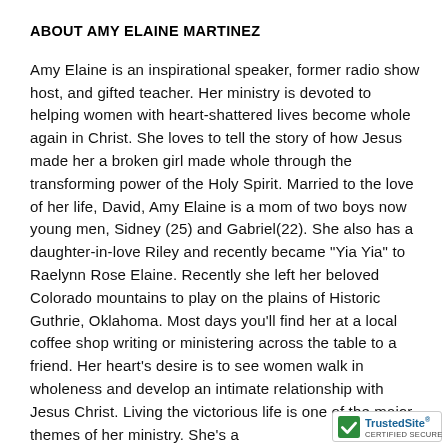ABOUT AMY ELAINE MARTINEZ
Amy Elaine is an inspirational speaker, former radio show host, and gifted teacher. Her ministry is devoted to helping women with heart-shattered lives become whole again in Christ. She loves to tell the story of how Jesus made her a broken girl made whole through the transforming power of the Holy Spirit. Married to the love of her life, David, Amy Elaine is a mom of two boys now young men, Sidney (25) and Gabriel(22). She also has a daughter-in-love Riley and recently became "Yia Yia" to Raelynn Rose Elaine. Recently she left her beloved Colorado mountains to play on the plains of Historic Guthrie, Oklahoma. Most days you'll find her at a local coffee shop writing or ministering across the table to a friend. Her heart's desire is to see women walk in wholeness and develop an intimate relationship with Jesus Christ. Living the victorious life is one of the major themes of her ministry. She's a...
[Figure (logo): TrustedSite CERTIFIED SECURE badge with green checkmark]